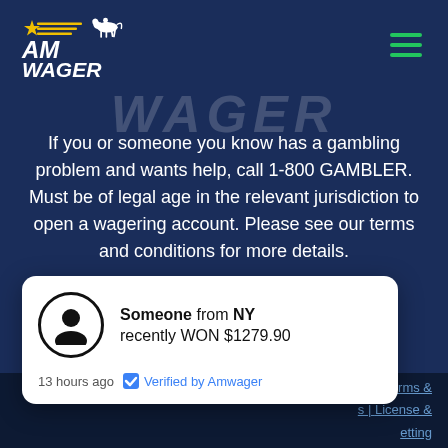[Figure (logo): AmWager logo with horse racing jockey silhouette, gold stripes, and white text on dark blue background]
[Figure (other): Hamburger menu icon with three green horizontal lines]
WAGER (watermark background text)
If you or someone you know has a gambling problem and wants help, call 1-800 GAMBLER. Must be of legal age in the relevant jurisdiction to open a wagering account. Please see our terms and conditions for more details.
Someone from NY recently WON $1279.90
13 hours ago   Verified by Amwager
Terms & | License & etting